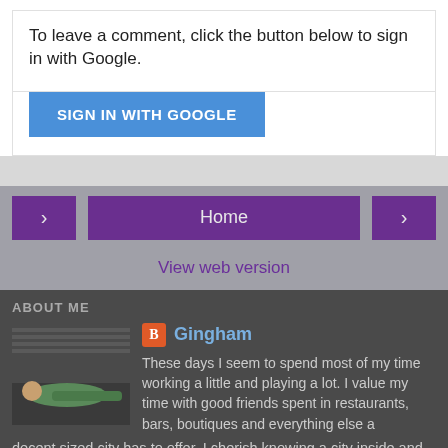To leave a comment, click the button below to sign in with Google.
[Figure (screenshot): Blue 'SIGN IN WITH GOOGLE' button]
[Figure (screenshot): Navigation bar with left arrow, Home button, and right arrow. Below: 'View web version' link.]
ABOUT ME
[Figure (photo): Photo of child lying on floor]
Gingham
These days I seem to spend most of my time working a little and playing a lot. I value my time with good friends spent in restaurants, bars, boutiques and everything else a decent sized city has to offer. I cherish knowing a city inside and out almost as much as I enjoy escaping it to someplace with no cars and hardly any people. Horses take up a chunk of time, as does coaching.. It's a good life.
View my complete profile